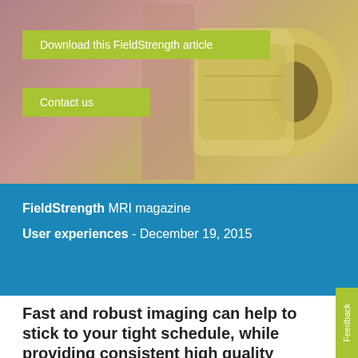[Figure (photo): Background photo of an MRI machine in a clinical setting, with warm pink/beige walls and yellow/cream colored MRI bore visible]
Download this FieldStrength article
Contact us
FieldStrength MRI magazine
User experiences - December 19, 2015
Fast and robust imaging can help to stick to your tight schedule, while providing consistent high quality information for confident diagnosis.
Feedback